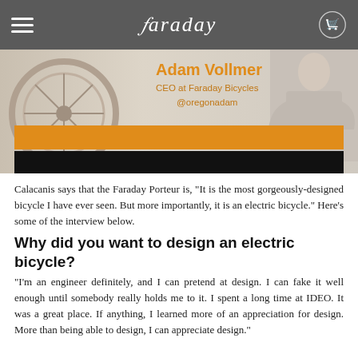Faraday (navigation header with logo and cart)
[Figure (photo): Hero image showing bicycle wheel on left, a man in a beige jacket with arms crossed on the right, with orange and black decorative bars. Text overlay shows Adam Vollmer, CEO at Faraday Bicycles, @oregonadam]
Calacanis says that the Faraday Porteur is, "It is the most gorgeously-designed bicycle I have ever seen. But more importantly, it is an electric bicycle." Here’s some of the interview below.
Why did you want to design an electric bicycle?
“I’m an engineer definitely, and I can pretend at design. I can fake it well enough until somebody really holds me to it. I spent a long time at IDEO. It was a great place. If anything, I learned more of an appreciation for design. More than being able to design, I can appreciate design.”